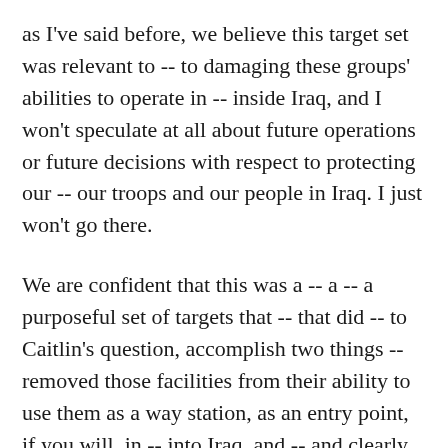as I've said before, we believe this target set was relevant to -- to damaging these groups' abilities to operate in -- inside Iraq, and I won't speculate at all about future operations or future decisions with respect to protecting our -- our troops and our people in Iraq. I just won't go there.
We are confident that this was a -- a -- a purposeful set of targets that -- that did -- to Caitlin's question, accomplish two things -- removed those facilities from their ability to use them as a way station, as an entry point, if you will, in -- into Iraq, and -- and clearly to send a very strong message about how we take the attacks on our people -- how seriously we take